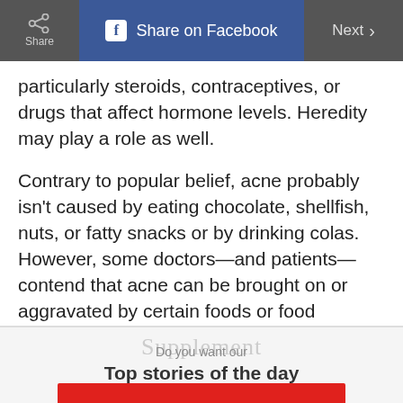Share | Share on Facebook | Next
particularly steroids, contraceptives, or drugs that affect hormone levels. Heredity may play a role as well.
Contrary to popular belief, acne probably isn't caused by eating chocolate, shellfish, nuts, or fatty snacks or by drinking colas. However, some doctors—and patients—contend that acne can be brought on or aggravated by certain foods or food allergies.
Supplement
Do you want our
Top stories of the day delivered to your inbox?